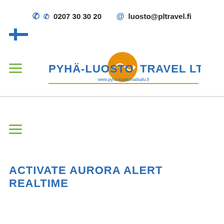☎ 0207 30 30 20  @ luosto@pltravel.fi
[Figure (logo): Finnish flag icon (blue cross on white background)]
[Figure (logo): Pyhä-Luosto Travel Ltd logo with orange circle and text, underlined with gold line, www.pyha-luostomatkailu.fi]
ACTIVATE AURORA ALERT REALTIME